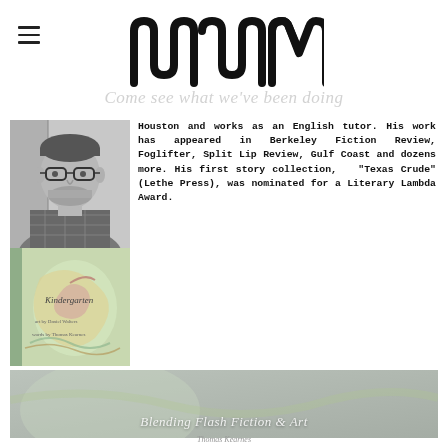[Figure (logo): NuM literary magazine logo - stylized text in black]
Come see what we've been doing
[Figure (photo): Black and white portrait photo of a man with glasses and short beard wearing a plaid shirt]
Houston and works as an English tutor. His work has appeared in Berkeley Fiction Review, Foglifter, Split Lip Review, Gulf Coast and dozens more. His first story collection, "Texas Crude" (Lethe Press), was nominated for a Literary Lambda Award.
[Figure (photo): Book cover for 'Kindergarten' with colorful illustrated artwork]
[Figure (photo): Background banner image with text 'Blending Flash Fiction & Art']
Blending Flash Fiction & Art
Thomas Kearnes